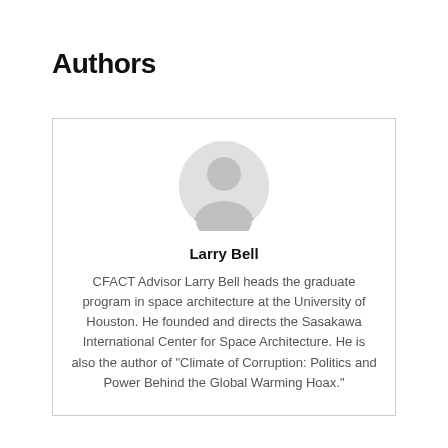Authors
[Figure (illustration): Generic user avatar silhouette in light grey]
Larry Bell
CFACT Advisor Larry Bell heads the graduate program in space architecture at the University of Houston. He founded and directs the Sasakawa International Center for Space Architecture. He is also the author of "Climate of Corruption: Politics and Power Behind the Global Warming Hoax."